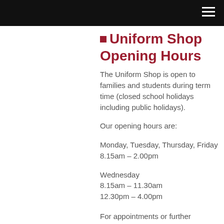Uniform Shop Opening Hours
The Uniform Shop is open to families and students during term time (closed school holidays including public holidays).
Our opening hours are:
Monday, Tuesday, Thursday, Friday
8.15am – 2.00pm
Wednesday
8.15am – 11.30am
12.30pm – 4.00pm
For appointments or further